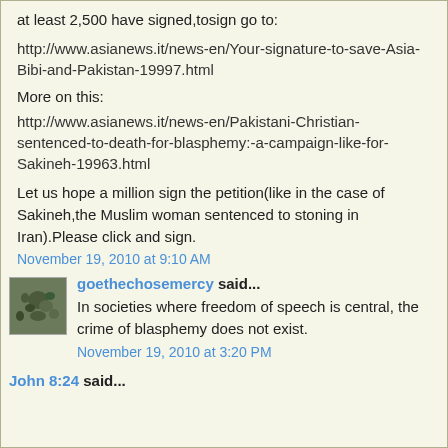at least 2,500 have signed,tosign go to:
http://www.asianews.it/news-en/Your-signature-to-save-Asia-Bibi-and-Pakistan-19997.html
More on this:
http://www.asianews.it/news-en/Pakistani-Christian-sentenced-to-death-for-blasphemy:-a-campaign-like-for-Sakineh-19963.html
Let us hope a million sign the petition(like in the case of Sakineh,the Muslim woman sentenced to stoning in Iran).Please click and sign.
November 19, 2010 at 9:10 AM
goethechosemercy said...
In societies where freedom of speech is central, the crime of blasphemy does not exist.
November 19, 2010 at 3:20 PM
John 8:24 said...